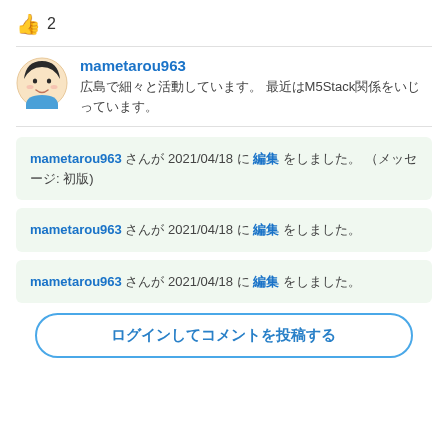👍 2
mametarou963
広島で細々と活動しています。 最近はM5Stack関係をいじっています。
mametarou963 さんが 2021/04/18 に 編集 をしました。 （メッセージ: 初版)
mametarou963 さんが 2021/04/18 に 編集 をしました。
mametarou963 さんが 2021/04/18 に 編集 をしました。
ログインしてコメントを投稿する